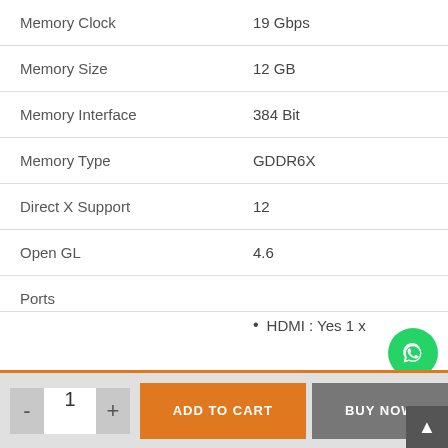| Specification | Value |
| --- | --- |
| Memory Clock | 19 Gbps |
| Memory Size | 12 GB |
| Memory Interface | 384 Bit |
| Memory Type | GDDR6X |
| Direct X Support | 12 |
| Open GL | 4.6 |
| Ports | • HDMI : Yes 1 x |